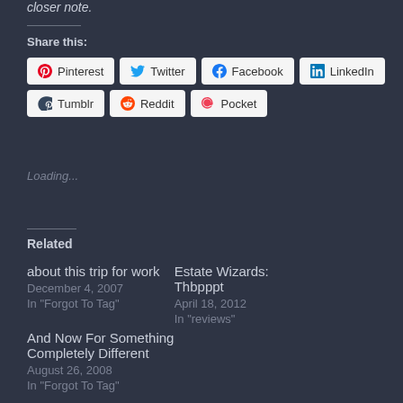closer note.
Share this:
Pinterest  Twitter  Facebook  LinkedIn  Tumblr  Reddit  Pocket
Loading...
Related
about this trip for work
December 4, 2007
In "Forgot To Tag"
Estate Wizards: Thbpppt
April 18, 2012
In "reviews"
And Now For Something Completely Different
August 26, 2008
In "Forgot To Tag"